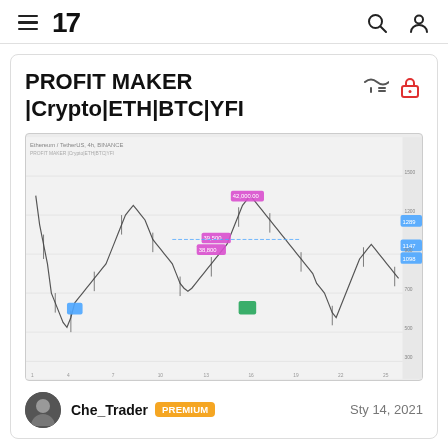TradingView navigation bar with hamburger menu, TV logo, search icon, and user icon
PROFIT MAKER |Crypto|ETH|BTC|YFI
[Figure (screenshot): TradingView candlestick chart showing price action with colored signal markers (blue, green, magenta) and price levels annotated on the right axis]
Che_Trader PREMIUM   Sty 14, 2021